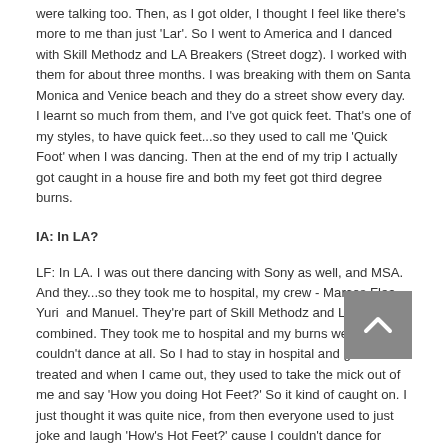were talking too. Then, as I got older, I thought I feel like there's more to me than just 'Lar'. So I went to America and I danced with Skill Methodz and LA Breakers (Street dogz). I worked with them for about three months. I was breaking with them on Santa Monica and Venice beach and they do a street show every day. I learnt so much from them, and I've got quick feet. That's one of my styles, to have quick feet...so they used to call me 'Quick Foot' when I was dancing. Then at the end of my trip I actually got caught in a house fire and both my feet got third degree burns.
IA: In LA?
LF: In LA. I was out there dancing with Sony as well, and MSA. And they...so they took me to hospital, my crew - Marcos Flea, Yuri and Manuel. They're part of Skill Methodz and LA breakerz combined. They took me to hospital and my burns were so bad I couldn't dance at all. So I had to stay in hospital and get them treated and when I came out, they used to take the mick out of me and say 'How you doing Hot Feet?' So it kind of caught on. I just thought it was quite nice, from then everyone used to just joke and laugh 'How's Hot Feet?' cause I couldn't dance for ages. I